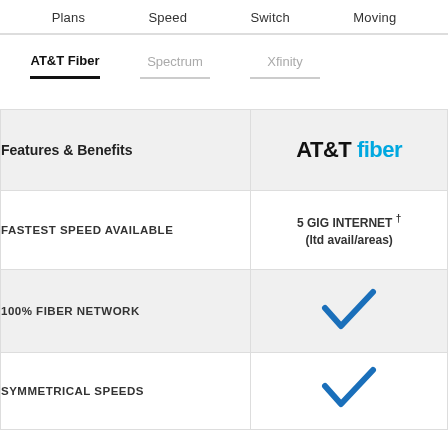Plans  Speed  Switch  Moving
AT&T Fiber  Spectrum  Xfinity
| Features & Benefits | AT&T fiber |
| --- | --- |
| FASTEST SPEED AVAILABLE | 5 GIG INTERNET † (ltd avail/areas) |
| 100% FIBER NETWORK | ✓ |
| SYMMETRICAL SPEEDS | ✓ |